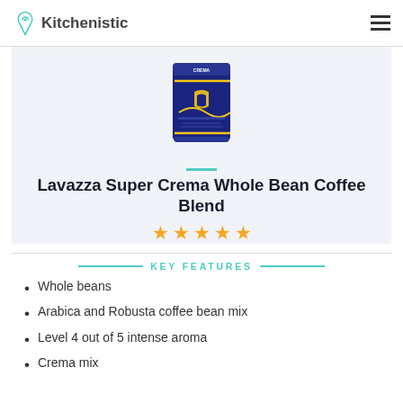Kitchenistic
[Figure (photo): Lavazza Super Crema Whole Bean Coffee Blend product package in dark navy blue bag]
Lavazza Super Crema Whole Bean Coffee Blend
KEY FEATURES
Whole beans
Arabica and Robusta coffee bean mix
Level 4 out of 5 intense aroma
Crema mix